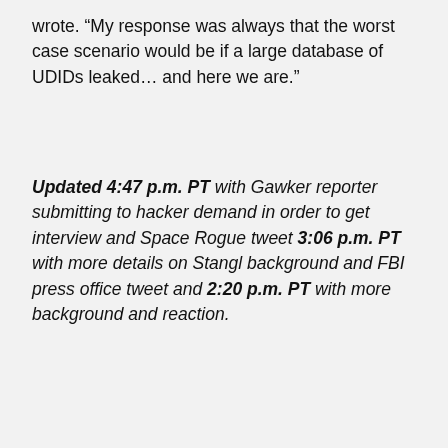wrote. "My response was always that the worst case scenario would be if a large database of UDIDs leaked… and here we are."
Updated 4:47 p.m. PT with Gawker reporter submitting to hacker demand in order to get interview and Space Rogue tweet 3:06 p.m. PT with more details on Stangl background and FBI press office tweet and 2:20 p.m. PT with more background and reaction.
Advertisement